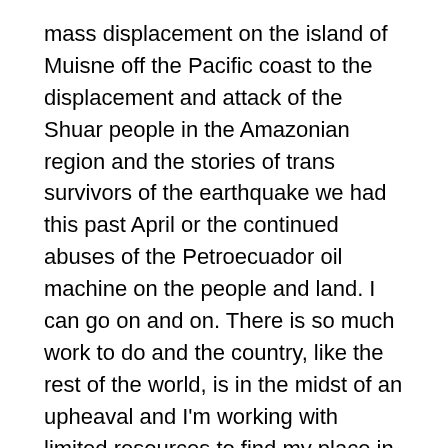mass displacement on the island of Muisne off the Pacific coast to the displacement and attack of the Shuar people in the Amazonian region and the stories of trans survivors of the earthquake we had this past April or the continued abuses of the Petroecuador oil machine on the people and land. I can go on and on. There is so much work to do and the country, like the rest of the world, is in the midst of an upheaval and I'm working with limited resources to find my place in it. Photo and video journalism is my priority but like most QTPOC artivists, I need support to make it happen.
LF: You coordinate the POC Travel Book Club which is an online space to discuss the landscape of travel, writing, and people of color. Most recently, the Club read bell hooks', Belonging: A Culture of Place — what is